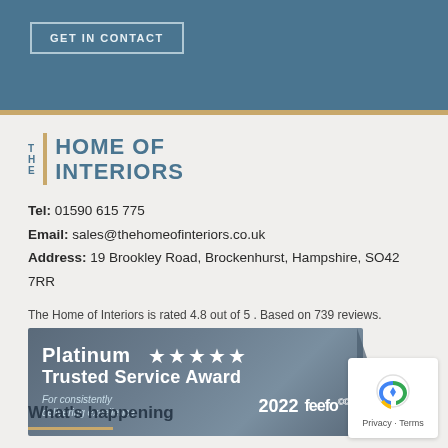GET IN CONTACT
[Figure (logo): The Home of Interiors logo with stylized 'THE' text and gold vertical bar]
Tel: 01590 615 775
Email: sales@thehomeofinteriors.co.uk
Address: 19 Brookley Road, Brockenhurst, Hampshire, SO42 7RR
The Home of Interiors is rated 4.8 out of 5 . Based on 739 reviews.
[Figure (illustration): Platinum Trusted Service Award badge for consistently delivering excellence, 2022 feefo, with 5 stars]
What's happening